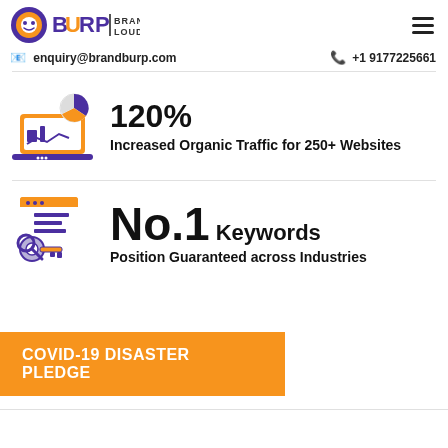[Figure (logo): BrandBurp | BRAND LOUD logo with colorful lettering and small face icon]
enquiry@brandburp.com
+1 9177225661
[Figure (illustration): Illustration of a laptop with a pie chart and analytics graph icon]
120%
Increased Organic Traffic for 250+ Websites
[Figure (illustration): Illustration of a keyword search icon with magnifying glass and key]
No.1 Keywords
Position Guaranteed across Industries
COVID-19 DISASTER PLEDGE